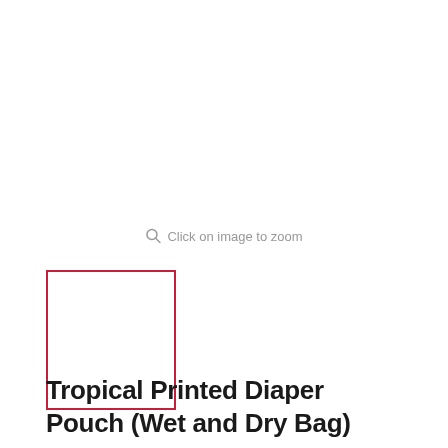Click on image to zoom
[Figure (screenshot): Small product thumbnail image placeholder with red border outline, empty white interior]
Tropical Printed Diaper Pouch (Wet and Dry Bag)